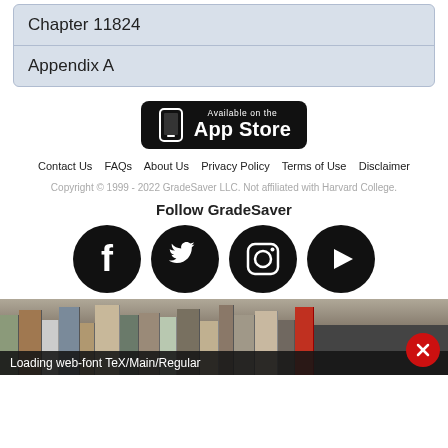| Chapter 11824 |
| Appendix A |
[Figure (other): App Store download badge — black rounded rectangle with phone icon, text 'Available on the App Store']
Contact Us   FAQs   About Us   Privacy Policy   Terms of Use   Disclaimer
Copyright © 1999 - 2022 GradeSaver LLC. Not affiliated with Harvard College.
Follow GradeSaver
[Figure (other): Social media icons: Facebook, Twitter, Instagram, YouTube — circular black icons]
[Figure (photo): Row of books on a shelf, dark/moody photo]
Loading web-font TeX/Main/Regular